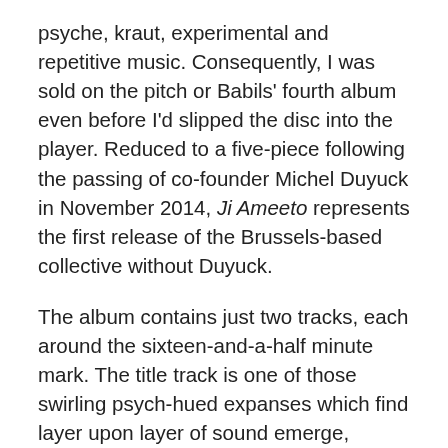psyche, kraut, experimental and repetitive music. Consequently, I was sold on the pitch or Babils' fourth album even before I'd slipped the disc into the player. Reduced to a five-piece following the passing of co-founder Michel Duyuck in November 2014, Ji Ameeto represents the first release of the Brussels-based collective without Duyuck.
The album contains just two tracks, each around the sixteen-and-a-half minute mark. The title track is one of those swirling psych-hued expanses which find layer upon layer of sound emerge, converge and diverge at an infinite array of angles. And all the while, the rhythm section keep on plugging away, thumping out a hypnotic, motoric beat and locked-in bass groove. If my opening sentence reads sarcastically or as being somehow facetious, that's only partly the case. There is something about long songs that